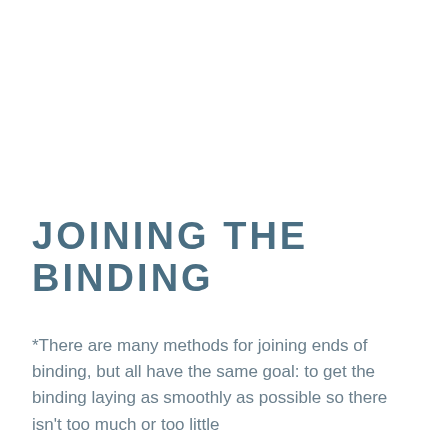JOINING THE BINDING
*There are many methods for joining ends of binding, but all have the same goal: to get the binding laying as smoothly as possible so there isn't too much or too little